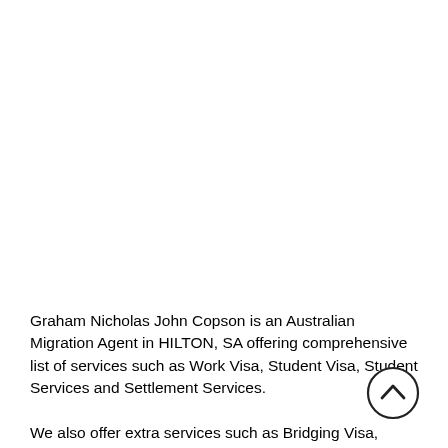Graham Nicholas John Copson is an Australian Migration Agent in HILTON, SA offering comprehensive list of services such as Work Visa, Student Visa, Student Services and Settlement Services.

We also offer extra services such as Bridging Visa, Business Innovation and Investment, State or Territory Sponsored